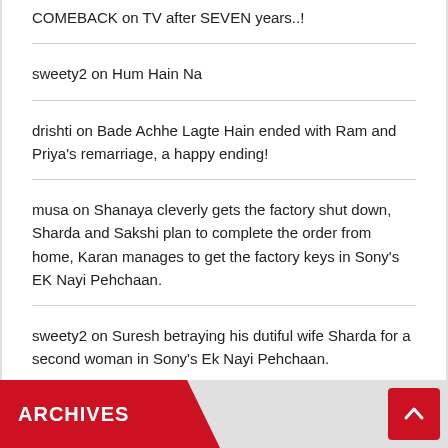COMEBACK on TV after SEVEN years..!
sweety2 on Hum Hain Na
drishti on Bade Achhe Lagte Hain ended with Ram and Priya's remarriage, a happy ending!
musa on Shanaya cleverly gets the factory shut down, Sharda and Sakshi plan to complete the order from home, Karan manages to get the factory keys in Sony's EK Nayi Pehchaan.
sweety2 on Suresh betraying his dutiful wife Sharda for a second woman in Sony's Ek Nayi Pehchaan.
ARCHIVES